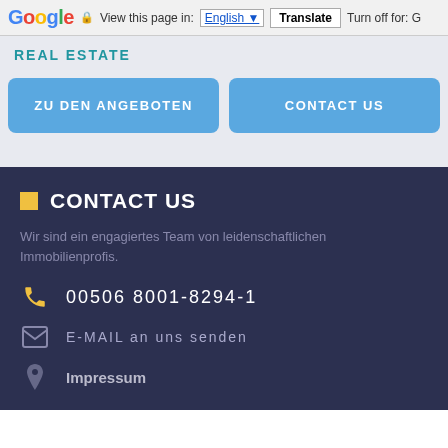Google  View this page in: English [▼]  Translate  Turn off for: G
REAL ESTATE
ZU DEN ANGEBOTEN
CONTACT US
CONTACT US
Wir sind ein engagiertes Team von leidenschaftlichen Immobilienprofis.
00506 8001-8294-1
E-MAIL an uns senden
Impressum